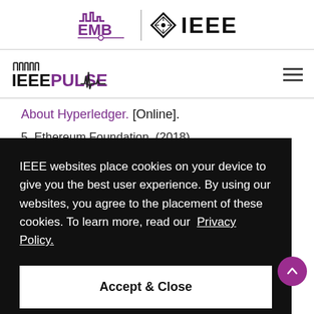[Figure (logo): EMB IEEE logo header with purple EMB text and IEEE diamond logo]
[Figure (logo): IEEE PULSE logo with waveform graphic and hamburger menu icon]
About Hyperledger. [Online].
5. Ethereum Foundation. (2018)
IEEE websites place cookies on your device to give you the best user experience. By using our websites, you agree to the placement of these cookies. To learn more, read our Privacy Policy.
Accept & Close
presented at the Int. Conf. Open